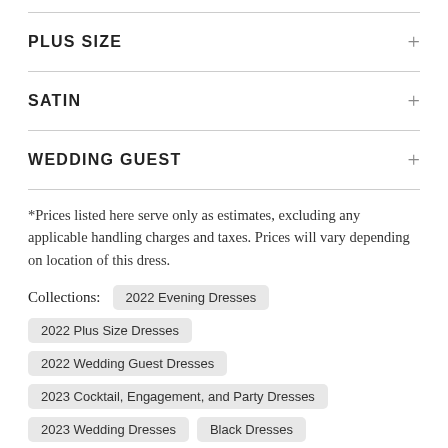PLUS SIZE
SATIN
WEDDING GUEST
*Prices listed here serve only as estimates, excluding any applicable handling charges and taxes. Prices will vary depending on location of this dress.
Collections: 2022 Evening Dresses | 2022 Plus Size Dresses | 2022 Wedding Guest Dresses | 2023 Cocktail, Engagement, and Party Dresses | 2023 Wedding Dresses | Black Dresses | Evening Dresses